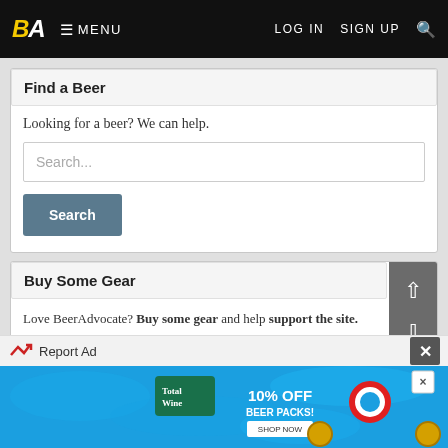BA MENU | LOG IN | SIGN UP | Search
Find a Beer
Looking for a beer? We can help.
Search...
Search
Buy Some Gear
Love BeerAdvocate? Buy some gear and help support the site. Glassware, tees, hats, and hoodies are available now.
Report Ad
[Figure (screenshot): Total Wine advertisement banner showing '10% OFF BEER PACKS!' with swimming pool background and beer bottle graphics]